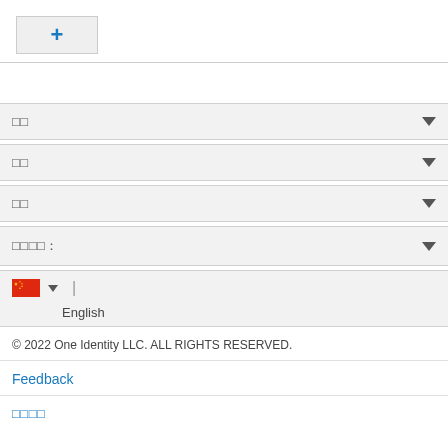[Figure (screenshot): A UI button with a blue plus (+) icon on a light gray background]
□□ (dropdown)
□□ (dropdown)
□□ (dropdown)
□□□□ (dropdown)
[Figure (screenshot): Language selector row with Chinese flag, dropdown arrow, pipe separator, and English label]
© 2022 One Identity LLC. ALL RIGHTS RESERVED.
Feedback
□□□□